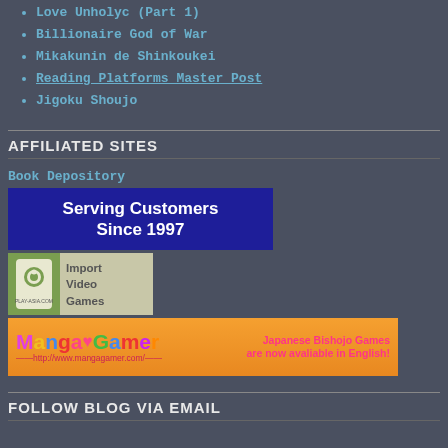Love Unholyc (Part 1)
Billionaire God of War
Mikakunin de Shinkoukei
Reading Platforms Master Post
Jigoku Shoujo
AFFILIATED SITES
Book Depository
[Figure (illustration): Book Depository ad banner: dark blue background with white bold text 'Serving Customers Since 1997']
[Figure (illustration): Play-Asia.com ad: light colored banner with logo icon and text 'Import Video Games']
[Figure (illustration): MangaGamer ad banner: orange background with colorful logo text 'MANGA GAMER' and text 'Japanese Bishojo Games are now available in English!']
FOLLOW BLOG VIA EMAIL